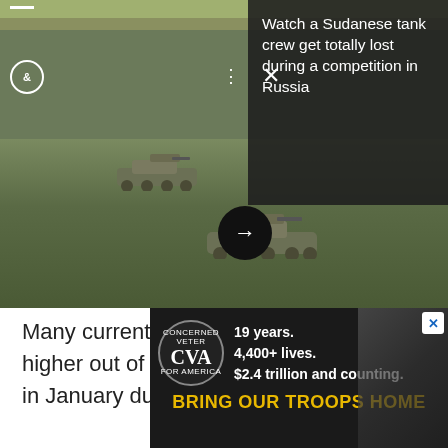[Figure (screenshot): Video player showing two military tanks on a grassy field. Overlay panel on top-right with dark background showing article title. Controls visible including logo circle, dots menu, X close button, and arrow forward button.]
Watch a Sudanese tank crew get totally lost during a competition in Russia
Many current Tricare users will likely see higher out of pocket fees for care starting in January due to a new plan a
[Figure (infographic): Advertisement banner for Concerned Veterans for America (CVA). Text reads: 19 years. 4,400+ lives. $2.4 trillion and counting. BRING OUR TROOPS HOME]